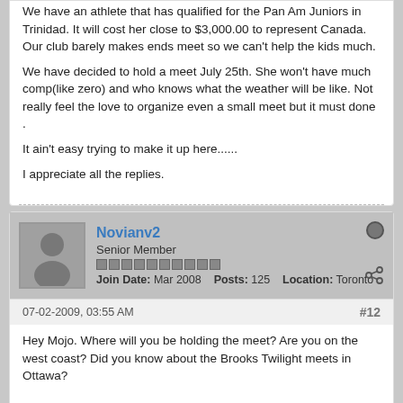We have an athlete that has qualified for the Pan Am Juniors in Trinidad. It will cost her close to $3,000.00 to represent Canada. Our club barely makes ends meet so we can't help the kids much.
We have decided to hold a meet July 25th. She won't have much comp(like zero) and who knows what the weather will be like. Not really feel the love to organize even a small meet but it must done .
It ain't easy trying to make it up here......
I appreciate all the replies.
Novianv2
Senior Member
Join Date: Mar 2008   Posts: 125   Location: Toronto
07-02-2009, 03:55 AM
#12
Hey Mojo. Where will you be holding the meet? Are you on the west coast? Did you know about the Brooks Twilight meets in Ottawa?